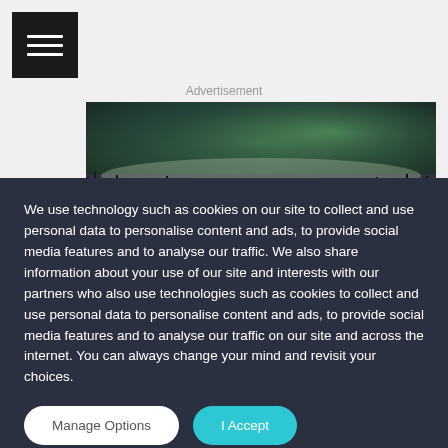[Figure (other): Hamburger menu icon button (three white horizontal lines on black background)]
Advertisement
[Figure (photo): Northern lights (aurora borealis) photograph with green and purple hues over a dark landscape]
We use technology such as cookies on our site to collect and use personal data to personalise content and ads, to provide social media features and to analyse our traffic. We also share information about your use of our site and interests with our partners who also use technologies such as cookies to collect and use personal data to personalise content and ads, to provide social media features and to analyse our traffic on our site and across the internet. You can always change your mind and revisit your choices.
Manage Options
I Accept